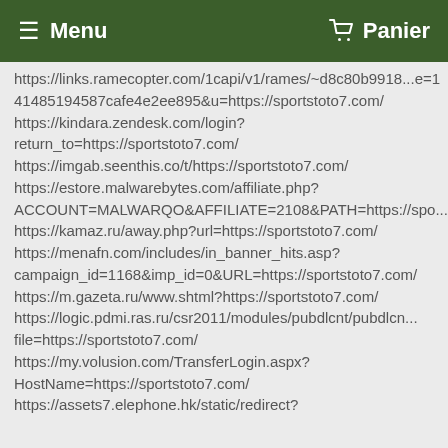≡ Menu   🛒 Panier
https://links.ramecopter.com/1capi/v1/rames/~d8c80b9918...e=141485194587cafe4e2ee895&u=https://sportstoto7.com/
https://kindara.zendesk.com/login?return_to=https://sportstoto7.com/
https://imgab.seenthis.co/t/https://sportstoto7.com/
https://estore.malwarebytes.com/affiliate.php?ACCOUNT=MALWARQO&AFFILIATE=2108&PATH=https://spo...
https://kamaz.ru/away.php?url=https://sportstoto7.com/
https://menafn.com/includes/in_banner_hits.asp?campaign_id=1168&imp_id=0&URL=https://sportstoto7.com/
https://m.gazeta.ru/www.shtml?https://sportstoto7.com/
https://logic.pdmi.ras.ru/csr2011/modules/pubdlcnt/pubdlcnt...file=https://sportstoto7.com/
https://my.volusion.com/TransferLogin.aspx?HostName=https://sportstoto7.com/
https://assets7.elephone.hk/static/redirect?